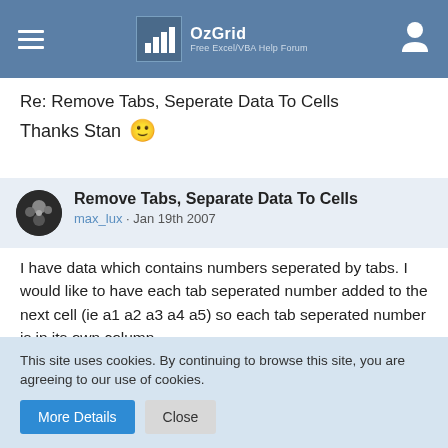OzGrid Free Excel/VBA Help Forum
Re: Remove Tabs, Seperate Data To Cells
Thanks Stan 🙂
Remove Tabs, Separate Data To Cells
max_lux · Jan 19th 2007
I have data which contains numbers seperated by tabs. I would like to have each tab seperated number added to the next cell (ie a1 a2 a3 a4 a5) so each tab seperated number is in its own column.
This site uses cookies. By continuing to browse this site, you are agreeing to our use of cookies.